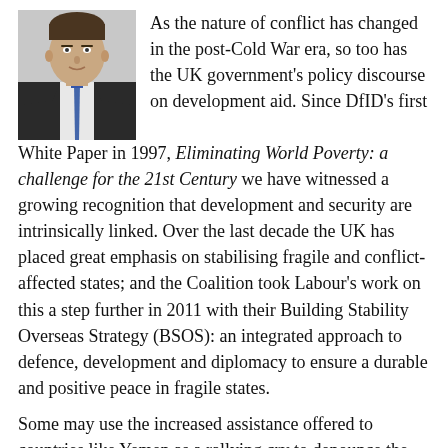[Figure (photo): Headshot photo of a man in a dark suit and tie, cropped to head and shoulders, against a light background.]
As the nature of conflict has changed in the post-Cold War era, so too has the UK government's policy discourse on development aid. Since DfID's first White Paper in 1997, Eliminating World Poverty: a challenge for the 21st Century we have witnessed a growing recognition that development and security are intrinsically linked. Over the last decade the UK has placed great emphasis on stabilising fragile and conflict-affected states; and the Coalition took Labour's work on this a step further in 2011 with their Building Stability Overseas Strategy (BSOS): an integrated approach to defence, development and diplomacy to ensure a durable and positive peace in fragile states.
Some may use the increased assistance offered to countries like Yemen as a rallying cry to denounce the 'securitisation of aid', but the facts suggest that this strategic shift is necessary – both morally and logically.
Over 1.5bn people currently live in fragile and conflict-affected states and it's no coincidence that not one of